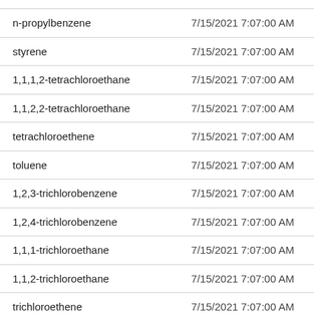| Analyte | Date |
| --- | --- |
| n-propylbenzene | 7/15/2021 7:07:00 AM |
| styrene | 7/15/2021 7:07:00 AM |
| 1,1,1,2-tetrachloroethane | 7/15/2021 7:07:00 AM |
| 1,1,2,2-tetrachloroethane | 7/15/2021 7:07:00 AM |
| tetrachloroethene | 7/15/2021 7:07:00 AM |
| toluene | 7/15/2021 7:07:00 AM |
| 1,2,3-trichlorobenzene | 7/15/2021 7:07:00 AM |
| 1,2,4-trichlorobenzene | 7/15/2021 7:07:00 AM |
| 1,1,1-trichloroethane | 7/15/2021 7:07:00 AM |
| 1,1,2-trichloroethane | 7/15/2021 7:07:00 AM |
| trichloroethene | 7/15/2021 7:07:00 AM |